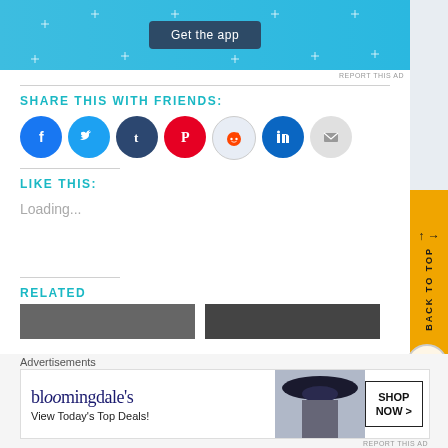[Figure (screenshot): Blue ad banner with 'Get the app' button and decorative plus/sparkle marks]
REPORT THIS AD
SHARE THIS WITH FRIENDS:
[Figure (illustration): Row of social media sharing icon circles: Facebook, Twitter, Tumblr, Pinterest, Reddit, LinkedIn, Email]
LIKE THIS:
Loading...
RELATED
[Figure (screenshot): Two related article thumbnail images side by side]
Advertisements
[Figure (screenshot): Bloomingdales advertisement: 'View Today's Top Deals!' with model wearing hat and SHOP NOW button]
REPORT THIS AD